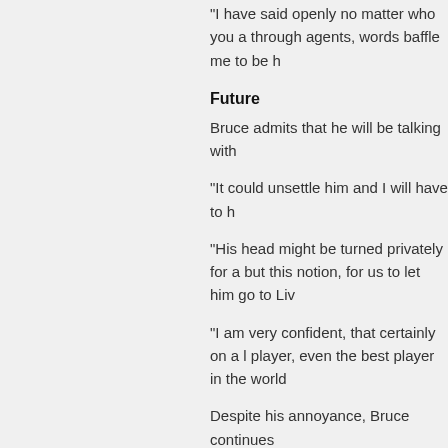"I have said openly no matter who you a through agents, words baffle me to be h
Future
Bruce admits that he will be talking with
"It could unsettle him and I will have to h
"His head might be turned privately for a but this notion, for us to let him go to Liv
"I am very confident, that certainly on a l player, even the best player in the world
Despite his annoyance, Bruce continues
"If Liverpool come in and are sensible, w window left it would have to be a substa continued.
"But as I said everyone has his price, tha on the door - I have had it before, with P
Video of interview